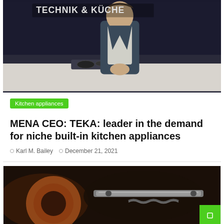[Figure (photo): A man in a dark suit standing in front of kitchen appliances with text 'TECHNIK & KÜCHE' in the upper left corner]
Kitchen appliances
MENA CEO: TEKA: leader in the demand for niche built-in kitchen appliances
Karl M. Bailey   December 21, 2021
[Figure (photo): Close-up of mechanical or industrial parts, appears to be metallic components]